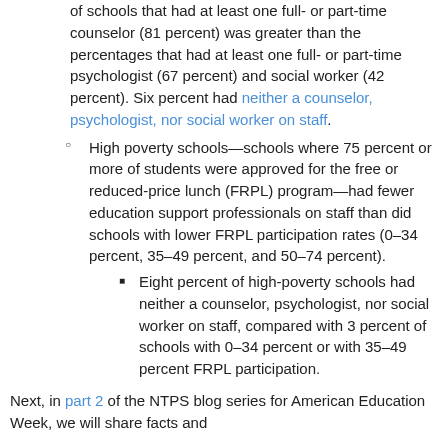of schools that had at least one full- or part-time counselor (81 percent) was greater than the percentages that had at least one full- or part-time psychologist (67 percent) and social worker (42 percent). Six percent had neither a counselor, psychologist, nor social worker on staff.
High poverty schools—schools where 75 percent or more of students were approved for the free or reduced-price lunch (FRPL) program—had fewer education support professionals on staff than did schools with lower FRPL participation rates (0–34 percent, 35–49 percent, and 50–74 percent).
Eight percent of high-poverty schools had neither a counselor, psychologist, nor social worker on staff, compared with 3 percent of schools with 0–34 percent or with 35–49 percent FRPL participation.
Next, in part 2 of the NTPS blog series for American Education Week, we will share facts and